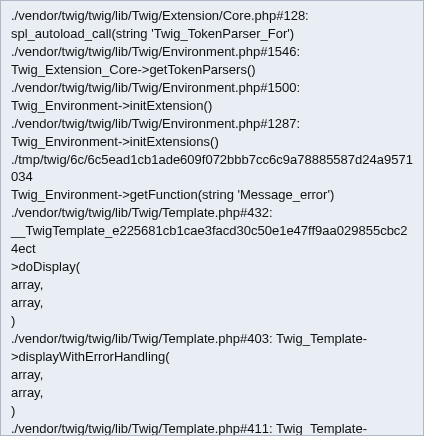./vendor/twig/twig/lib/Twig/Extension/Core.php#128: spl_autoload_call(string 'Twig_TokenParser_For') ./vendor/twig/twig/lib/Twig/Environment.php#1546: Twig_Extension_Core->getTokenParsers() ./vendor/twig/twig/lib/Twig/Environment.php#1500: Twig_Environment->initExtension() ./vendor/twig/twig/lib/Twig/Environment.php#1287: Twig_Environment->initExtensions() ./tmp/twig/6c/6c5ead1cb1ade609f072bbb7cc6c9a78885587d24a957103... Twig_Environment->getFunction(string 'Message_error') ./vendor/twig/twig/lib/Twig/Template.php#432: __TwigTemplate_e225681cb1cae3facd30c50e1e47ff9aa029855cbc24ect >doDisplay( array, array, ) ./vendor/twig/twig/lib/Twig/Template.php#403: Twig_Template->displayWithErrorHandling( array, array, ) ./vendor/twig/twig/lib/Twig/Template.php#411: Twig_Template->display(array) ./vendor/twig/twig/lib/Twig/TemplateWrapper.php#43: Twig_Template->render(array) ./libraries/classes/Template.php#133: Twig_TemplateWrapper->render(array) ./libraries/classes/Plugins/Auth/AuthenticationCookie.php#111: PhpMyAdmin\Template->render(array) ./libraries/classes/Plugins/AuthenticationPlugin.php#244: PhpMyAdmin\Plugins\Auth\AuthenticationCookie->showLoginForm()